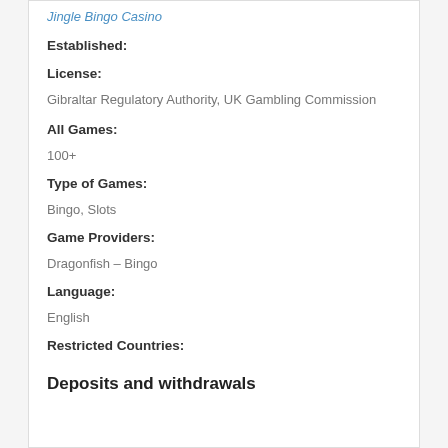Jingle Bingo Casino
Established:
License:
Gibraltar Regulatory Authority, UK Gambling Commission
All Games:
100+
Type of Games:
Bingo, Slots
Game Providers:
Dragonfish – Bingo
Language:
English
Restricted Countries:
Deposits and withdrawals